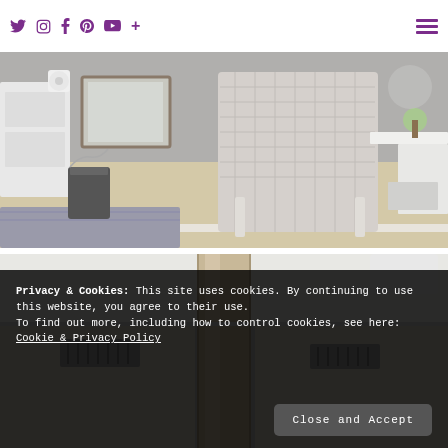Twitter Instagram Facebook Pinterest YouTube + [hamburger menu]
[Figure (photo): Interior room photo showing a white wicker/rattan chair in front of a white corner desk, with a trash can and toilet paper roll visible, light wood-look flooring, a decorative rug, and gray walls with a mirror.]
[Figure (photo): Close-up interior photo showing a white desk surface with a wood post/column in the center, floor vents visible on the floor, partially obscured by the cookie consent banner.]
Privacy & Cookies: This site uses cookies. By continuing to use this website, you agree to their use.
To find out more, including how to control cookies, see here: Cookie & Privacy Policy
Close and Accept